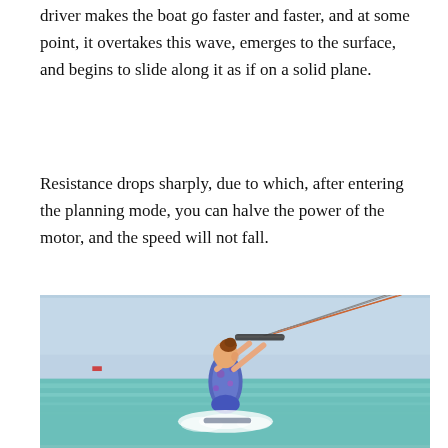driver makes the boat go faster and faster, and at some point, it overtakes this wave, emerges to the surface, and begins to slide along it as if on a solid plane.
Resistance drops sharply, due to which, after entering the planning mode, you can halve the power of the motor, and the speed will not fall.
[Figure (photo): A woman kitesurfer in a colorful wetsuit holding a kite bar, riding on choppy turquoise water with spray around her board. The sky is light blue and hazy.]